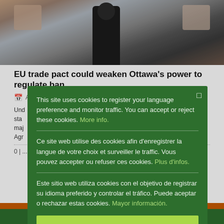[Figure (photo): Blurred photo of a person in dark clothing standing in what appears to be an interior space with counters or displays in the background]
EU trade pact could weaken Ottawa's power to regulate ban
Und... sta... maj... Agr...
0 | ...
This site uses cookies to register your language preference and monitor traffic. You can accept or reject these cookies. More info.
Ce site web utilise des cookies afin d'enregistrer la langue de votre choix et surveiller le traffic. Vous pouvez accepter ou refuser ces cookies. Plus d'infos.
Este sitio web utiliza cookies con el objetivo de registrar su idioma preferido y controlar el tráfico. Puede aceptar o rechazar estas cookies. Mayor información.
Ok